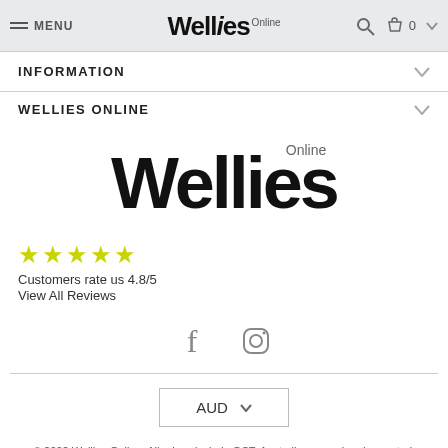MENU | Wellies Online | [search] [cart] 0
INFORMATION
WELLIES ONLINE
[Figure (logo): Wellies Online logo in large black bold text]
★★★★★ Customers rate us 4.8/5 View All Reviews
[Figure (other): Facebook and Instagram social media icons]
AUD ∨
© 2022 Wellies Online. All prices include GST. Australian owned and operated. Refund Policy | Privacy | Terms Of Use